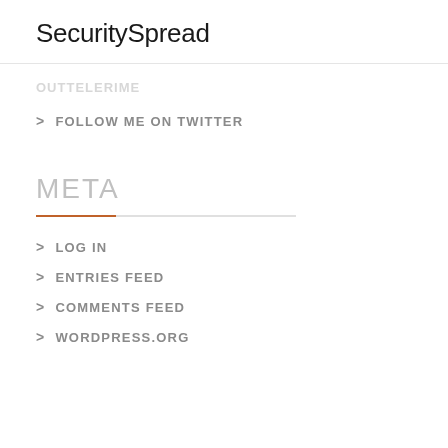SecuritySpread
> OUTTELERIME
> FOLLOW ME ON TWITTER
META
> LOG IN
> ENTRIES FEED
> COMMENTS FEED
> WORDPRESS.ORG